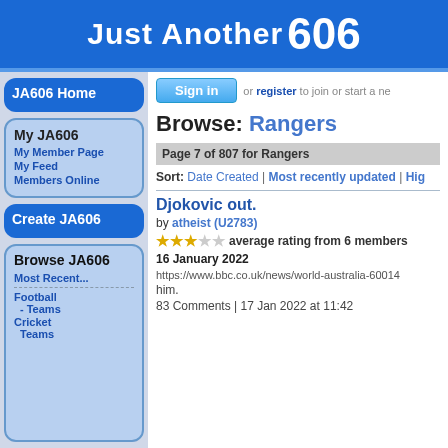Just Another 606
JA606 Home
My JA606
My Member Page
My Feed
Members Online
Create JA606
Browse JA606
Most Recent...
Football
- Teams
Cricket
Teams
Sign in or register to join or start a ne
Browse: Rangers
Page 7 of 807 for Rangers
Sort: Date Created | Most recently updated | Hig
Djokovic out.
by atheist (U2783)
average rating from 6 members
16 January 2022
https://www.bbc.co.uk/news/world-australia-60014... him.
83 Comments | 17 Jan 2022 at 11:42